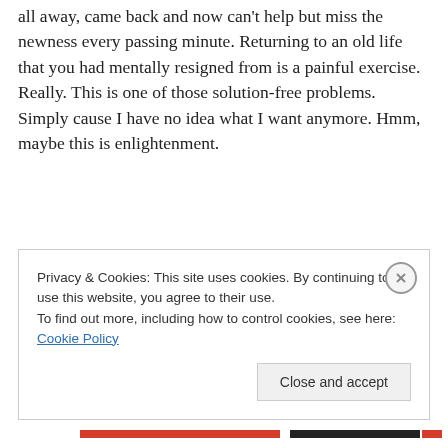all away, came back and now can't help but miss the newness every passing minute. Returning to an old life that you had mentally resigned from is a painful exercise. Really. This is one of those solution-free problems. Simply cause I have no idea what I want anymore. Hmm, maybe this is enlightenment.
Privacy & Cookies: This site uses cookies. By continuing to use this website, you agree to their use.
To find out more, including how to control cookies, see here: Cookie Policy
Close and accept